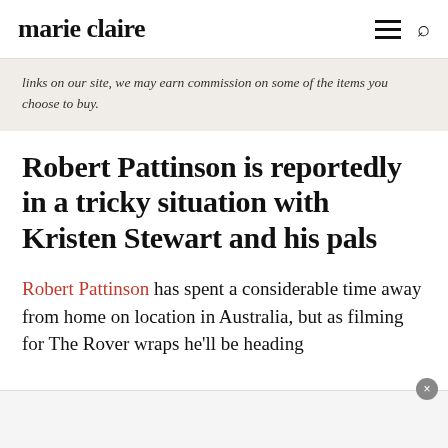marie claire
links on our site, we may earn commission on some of the items you choose to buy.
Robert Pattinson is reportedly in a tricky situation with Kristen Stewart and his pals
Robert Pattinson has spent a considerable time away from home on location in Australia, but as filming for The Rover wraps he'll be heading